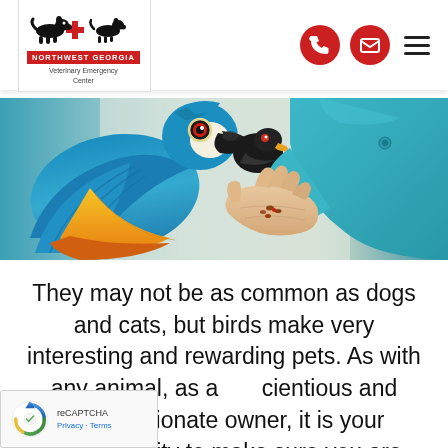Northwest Georgia Veterinary Emergency Center
[Figure (photo): A blue and yellow macaw parrot eating from a person's hand. The person is wearing a teal/turquoise jacket. The background is light/white.]
They may not be as common as dogs and cats, but birds make very interesting and rewarding pets. As with any animal, as a conscientious and compassionate owner, it is your responsibility to make sure you are